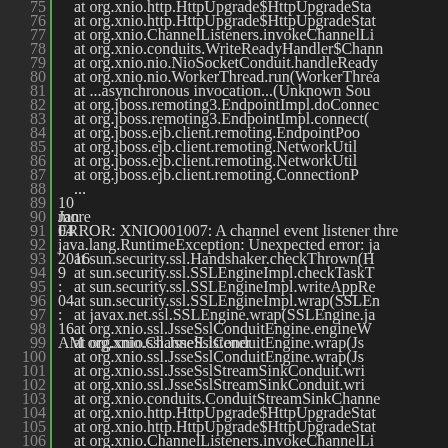[Figure (screenshot): IDE or log viewer showing stack trace lines 75-109 with green line numbers on a dark background. Lines 90-92 show a timestamp and error message with some green highlighted tokens.]